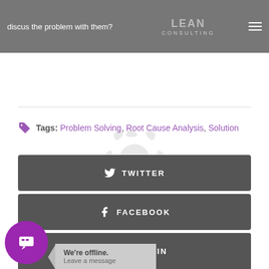discus the problem with them? LEAN CONSULTING
Tags: Problem Solving, Root Cause Analysis, Solution
TWITTER
FACEBOOK
GOOGLE
LINKEDIN
We're offline. Leave a message